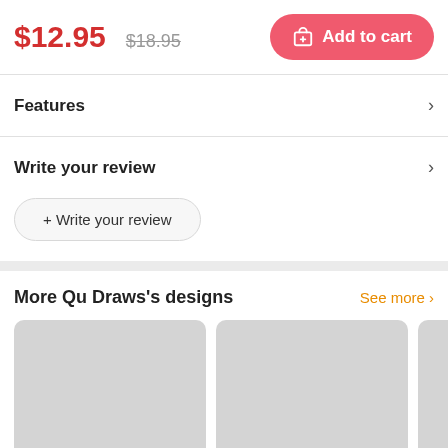$12.95  $18.95  Add to cart
Features
Write your review
+ Write your review
More Qu Draws's designs
See more >
[Figure (other): Two gray placeholder product image thumbnails and a partial third thumbnail]